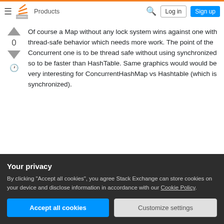≡  [Stack Overflow logo]  Products  🔍  Log in  Sign up
Of course a Map without any lock system wins against one with thread-safe behavior which needs more work. The point of the Concurrent one is to be thread safe without using synchronized so to be faster than HashTable. Same graphics would would be very interesting for ConcurrentHashMap vs Hashtable (which is synchronized).
Share
Improve this answer
Follow
answered Feb 21, 2020 at 15:54
user10933017
Your privacy
By clicking "Accept all cookies", you agree Stack Exchange can store cookies on your device and disclose information in accordance with our Cookie Policy.
Accept all cookies  Customize settings